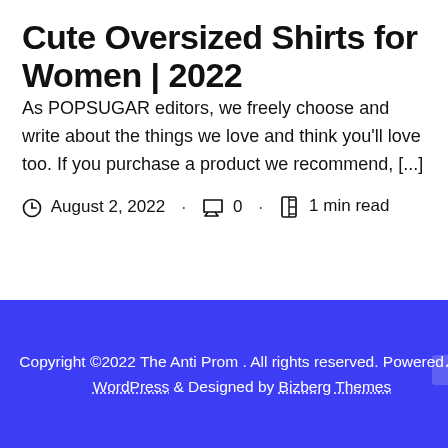Cute Oversized Shirts for Women | 2022
As POPSUGAR editors, we freely choose and write about the things we love and think you'll love too. If you purchase a product we recommend, [...]
August 2, 2022 · 0 · 1 min read
Copyright ©2022 The Anti Prom . All rights reserved. Powered by WordPress & Designed by Bizberg Themes